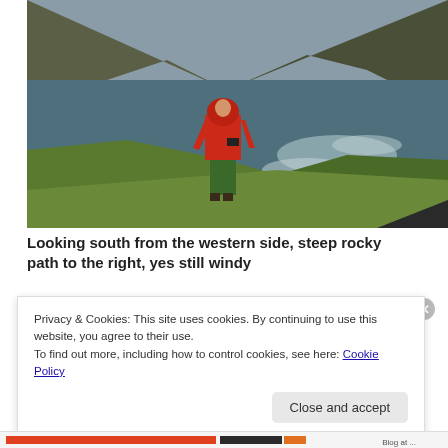[Figure (photo): Person in red jacket and green trousers standing on green grass cliff edge, overlooking a grey choppy sea bay with rocky cliffs in the background under an overcast sky.]
Looking south from the western side, steep rocky path to the right, yes still windy
Privacy & Cookies: This site uses cookies. By continuing to use this website, you agree to their use.
To find out more, including how to control cookies, see here: Cookie Policy
Close and accept